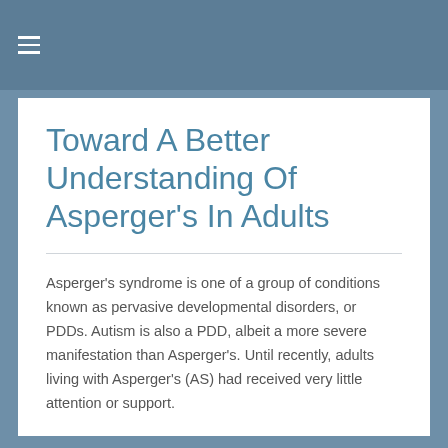≡
Toward A Better Understanding Of Asperger's In Adults
Asperger's syndrome is one of a group of conditions known as pervasive developmental disorders, or PDDs. Autism is also a PDD, albeit a more severe manifestation than Asperger's. Until recently, adults living with Asperger's (AS) had received very little attention or support.